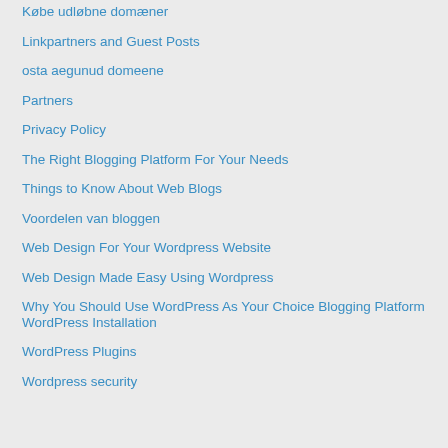Købe udløbne domæner
Linkpartners and Guest Posts
osta aegunud domeene
Partners
Privacy Policy
The Right Blogging Platform For Your Needs
Things to Know About Web Blogs
Voordelen van bloggen
Web Design For Your Wordpress Website
Web Design Made Easy Using Wordpress
Why You Should Use WordPress As Your Choice Blogging Platform
WordPress Installation
WordPress Plugins
Wordpress security